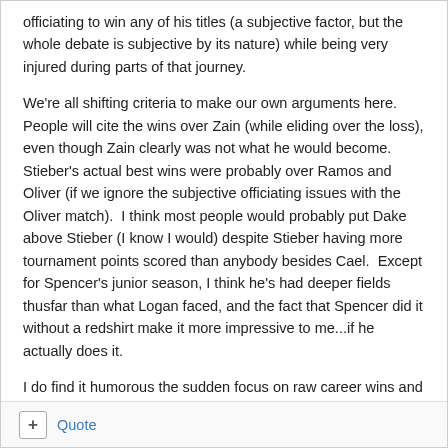officiating to win any of his titles (a subjective factor, but the whole debate is subjective by its nature) while being very injured during parts of that journey.
We're all shifting criteria to make our own arguments here.  People will cite the wins over Zain (while eliding over the loss), even though Zain clearly was not what he would become.  Stieber's actual best wins were probably over Ramos and Oliver (if we ignore the subjective officiating issues with the Oliver match).  I think most people would probably put Dake above Stieber (I know I would) despite Stieber having more tournament points scored than anybody besides Cael.  Except for Spencer's junior season, I think he's had deeper fields thusfar than what Logan faced, and the fact that Spencer did it without a redshirt make it more impressive to me...if he actually does it.
I do find it humorous the sudden focus on raw career wins and win percentage.  Outside of Cael's 159, I couldn't tell you how many matches another NCAA wrestler won in his career except for maybe Metcalf, and I'd bet most of you are the same way.
+ Quote